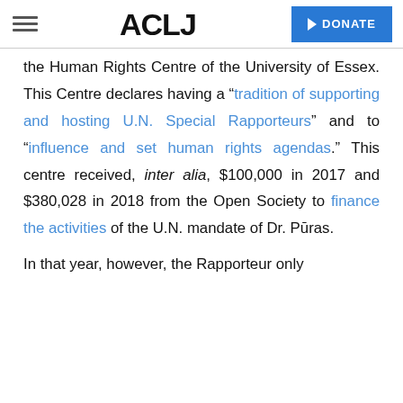ACLJ | DONATE
the Human Rights Centre of the University of Essex. This Centre declares having a “tradition of supporting and hosting U.N. Special Rapporteurs” and to “influence and set human rights agendas.” This centre received, inter alia, $100,000 in 2017 and $380,028 in 2018 from the Open Society to finance the activities of the U.N. mandate of Dr. Pūras.
In that year, however, the Rapporteur only